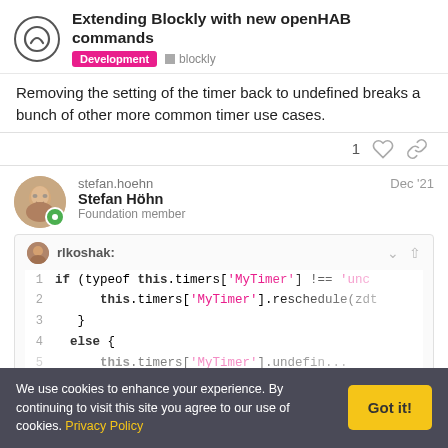Extending Blockly with new openHAB commands | Development | blockly
Removing the setting of the timer back to undefined breaks a bunch of other more common timer use cases.
1  (heart icon)  (link icon)
stefan.hoehn  Stefan Höhn  Foundation member  Dec '21
rlkoshak:
1  if (typeof this.timers['MyTimer'] !== 'und
2       this.timers['MyTimer'].reschedule(zdt
3   }
4  else {
5       this.timers['MyTimer'].undefine...
We use cookies to enhance your experience. By continuing to visit this site you agree to our use of cookies. Privacy Policy